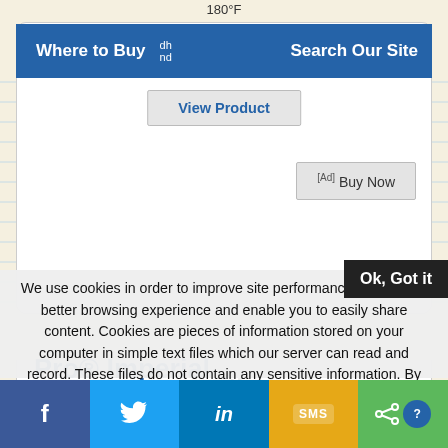180°F
Where to Buy
Search Our Site
View Product
[Ad] Buy Now
Pro® Imperial
We use cookies in order to improve site performance, offer you a better browsing experience and enable you to easily share content. Cookies are pieces of information stored on your computer in simple text files which our server can read and record. These files do not contain any sensitive information. By continuing to browse our site, you agree to the use of cookies.
Ok, Got it
Find out more and change your cookies parameters by
f  🐦  in  SMS  🔗